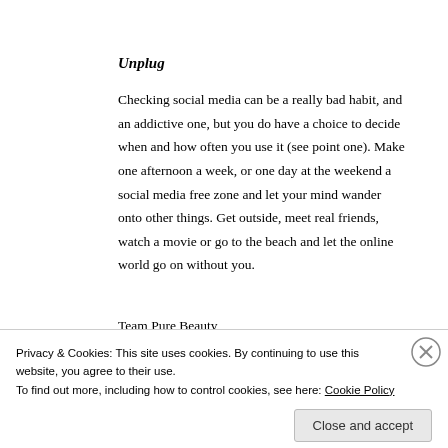Unplug
Checking social media can be a really bad habit, and an addictive one, but you do have a choice to decide when and how often you use it (see point one). Make one afternoon a week, or one day at the weekend a social media free zone and let your mind wander onto other things. Get outside, meet real friends, watch a movie or go to the beach and let the online world go on without you.
Team Pure Beauty
Privacy & Cookies: This site uses cookies. By continuing to use this website, you agree to their use.
To find out more, including how to control cookies, see here: Cookie Policy
Close and accept